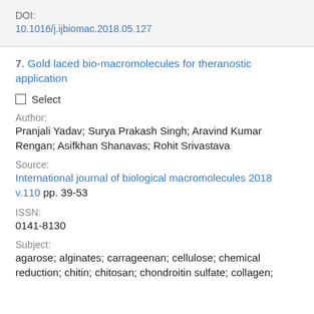DOI:
10.1016/j.ijbiomac.2018.05.127
7. Gold laced bio-macromolecules for theranostic application
Select
Author:
Pranjali Yadav; Surya Prakash Singh; Aravind Kumar Rengan; Asifkhan Shanavas; Rohit Srivastava
Source:
International journal of biological macromolecules 2018 v.110 pp. 39-53
ISSN:
0141-8130
Subject:
agarose; alginates; carrageenan; cellulose; chemical reduction; chitin; chitosan; chondroitin sulfate; collagen;